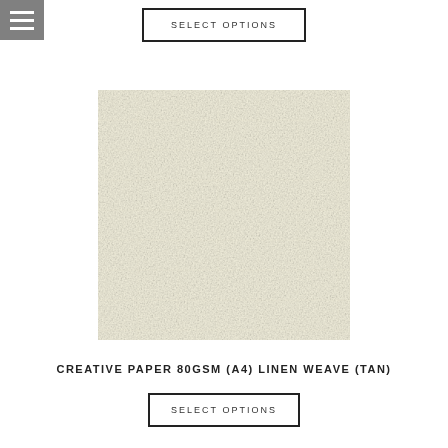[Figure (other): Hamburger menu icon — three horizontal white lines on a grey square background]
SELECT OPTIONS
[Figure (photo): Swatch of cream/tan linen weave textured paper (80gsm A4), showing a slightly off-white, warm-toned surface with subtle fibrous texture]
CREATIVE PAPER 80GSM (A4) LINEN WEAVE (TAN)
SELECT OPTIONS